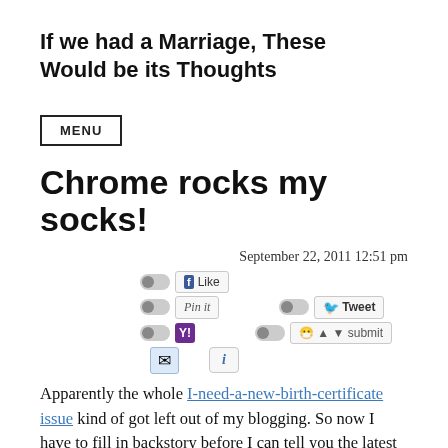If we had a Marriage, These Would be its Thoughts
MENU
Chrome rocks my socks!
September 22, 2011 12:51 pm
[Figure (screenshot): Social sharing buttons: Facebook Like, Pinterest Pin it, Twitter Tweet, Yahoo Y!, Reddit submit, email, and info buttons with toggle switches]
Apparently the whole I-need-a-new-birth-certificate issue kind of got left out of my blogging. So now I have to fill in backstory before I can tell you the latest developments